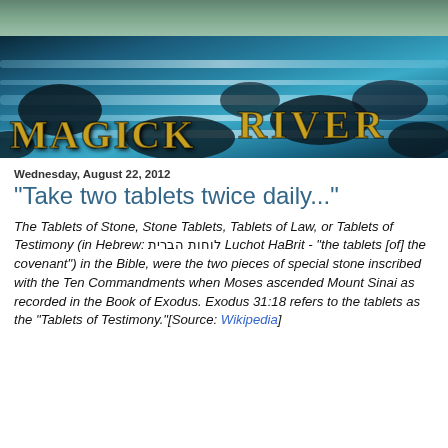[Figure (photo): Magick River website banner showing a river with rocks and flowing water, with golden text 'MAGICK RIVER' overlaid on a teal/blue river scene. Top strip shows a misty green landscape.]
Wednesday, August 22, 2012
"Take two tablets twice daily..."
The Tablets of Stone, Stone Tablets, Tablets of Law, or Tablets of Testimony (in Hebrew: לוחות הברית Luchot HaBrit - "the tablets [of] the covenant") in the Bible, were the two pieces of special stone inscribed with the Ten Commandments when Moses ascended Mount Sinai as recorded in the Book of Exodus. Exodus 31:18 refers to the tablets as the "Tablets of Testimony."[Source: Wikipedia]